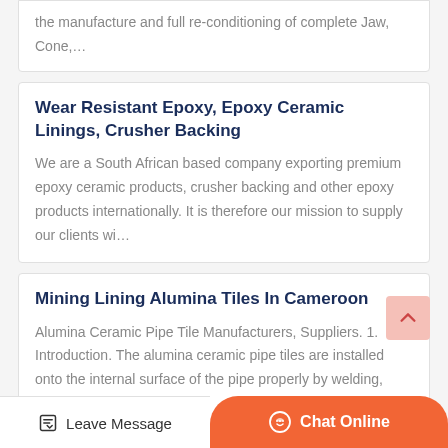the manufacture and full re-conditioning of complete Jaw, Cone,…
Wear Resistant Epoxy, Epoxy Ceramic Linings, Crusher Backing
We are a South African based company exporting premium epoxy ceramic products, crusher backing and other epoxy products internationally. It is therefore our mission to supply our clients wi…
Mining Lining Alumina Tiles In Cameroon
Alumina Ceramic Pipe Tile Manufacturers, Suppliers. 1. Introduction. The alumina ceramic pipe tiles are installed onto the internal surface of the pipe properly by welding, pasting or inter-…